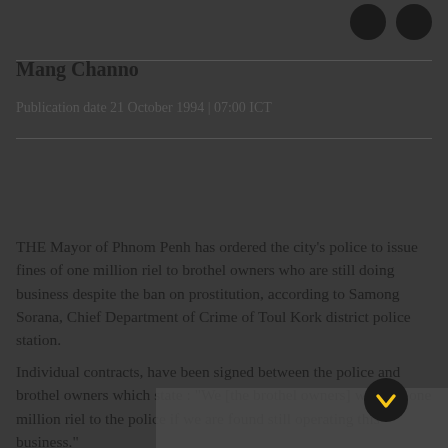Mang Channo
Publication date 21 October 1994 | 07:00 ICT
THE Mayor of Phnom Penh has ordered the city's police to issue fines of one million riel to brothel owners who are still doing business despite the ban on prostitution, according to Samong Sorana, Chief Department of Crime of Toul Kork district police station.
Individual contracts, have been signed between the police and brothel owners which state : "We [the brothel owners] will pay one million riel to the police if we are found still operating this business."